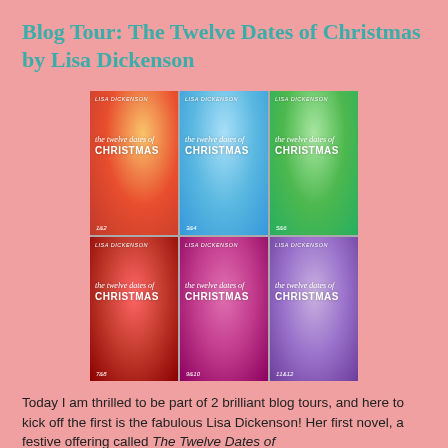Blog Tour: The Twelve Dates of Christmas by Lisa Dickenson
[Figure (illustration): Six book cover images arranged in a 3x2 grid for 'The Twelve Dates of Christmas' by Lisa Dickenson, showing volumes 1&2, 3&4, 5&6, 7&8, 9&10, and 11&12 in orange/red, blue, green, red, pink/magenta, and purple color schemes respectively.]
Today I am thrilled to be part of 2 brilliant blog tours, and here to kick off the first is the fabulous Lisa Dickenson! Her first novel, a festive offering called The Twelve Dates of